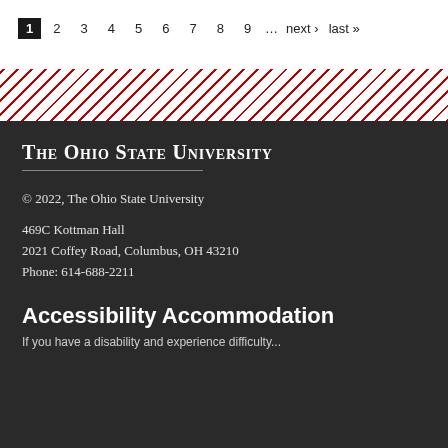1 2 3 4 5 6 7 8 9 … next › last »
[Figure (other): Decorative diagonal red and white striped divider band]
The Ohio State University
© 2022, The Ohio State University
469C Kottman Hall
2021 Coffey Road, Columbus, OH 43210
Phone: 614-688-2211
Accessibility Accommodation
If you have a disability and experience difficulty...